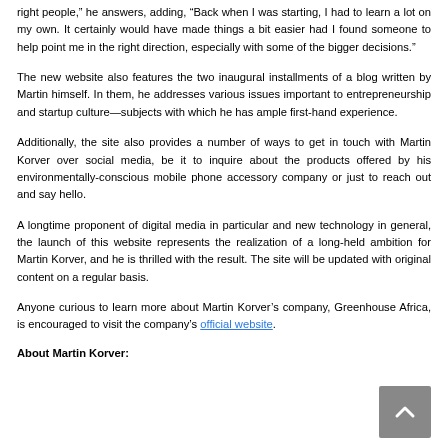right people," he answers, adding, "Back when I was starting, I had to learn a lot on my own. It certainly would have made things a bit easier had I found someone to help point me in the right direction, especially with some of the bigger decisions."
The new website also features the two inaugural installments of a blog written by Martin himself. In them, he addresses various issues important to entrepreneurship and startup culture—subjects with which he has ample first-hand experience.
Additionally, the site also provides a number of ways to get in touch with Martin Korver over social media, be it to inquire about the products offered by his environmentally-conscious mobile phone accessory company or just to reach out and say hello.
A longtime proponent of digital media in particular and new technology in general, the launch of this website represents the realization of a long-held ambition for Martin Korver, and he is thrilled with the result. The site will be updated with original content on a regular basis.
Anyone curious to learn more about Martin Korver's company, Greenhouse Africa, is encouraged to visit the company's official website.
About Martin Korver: